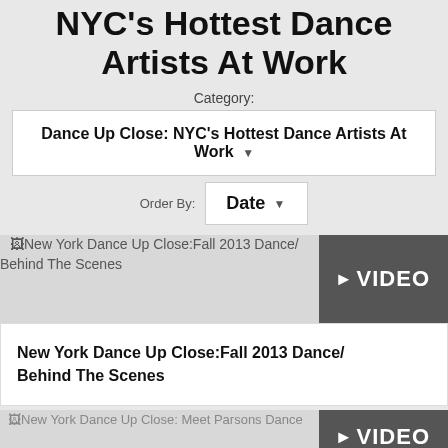NYC's Hottest Dance Artists At Work
Category:
Dance Up Close: NYC's Hottest Dance Artists At Work
Order By: Date
New York Dance Up Close:Fall 2013 Dance/ Behind The Scenes
New York Dance Up Close:Fall 2013 Dance/ Behind The Scenes
New York Dance Up Close: Meet Parsons Dance